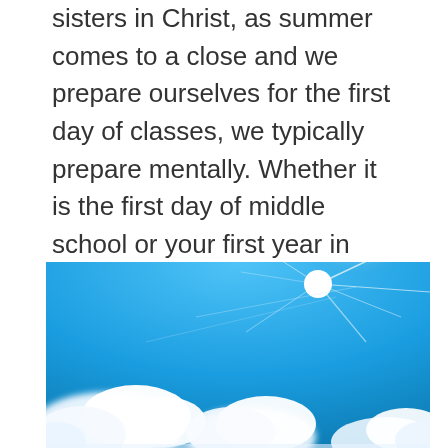sisters in Christ, as summer comes to a close and we prepare ourselves for the first day of classes, we typically prepare mentally. Whether it is the first day of middle school or your first year in high school or your first year in...
[Figure (photo): Photo of a bright blue sky with the sun shining brightly in the upper right corner with white clouds in the lower portion of the image.]